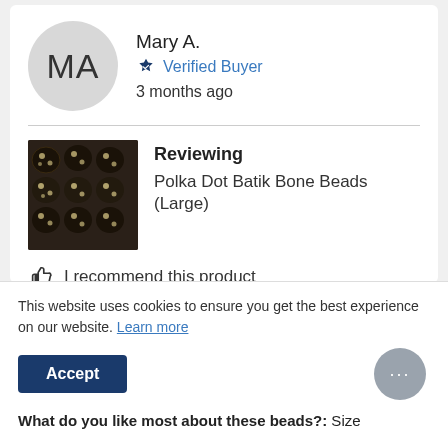MA
Mary A.
Verified Buyer
3 months ago
[Figure (photo): Product photo of dark polka dot batik bone beads, clustered together showing dark brown/black beads with cream/white polka dot pattern]
Reviewing
Polka Dot Batik Bone Beads (Large)
I recommend this product
This website uses cookies to ensure you get the best experience on our website. Learn more
What do you like most about these beads?: Size